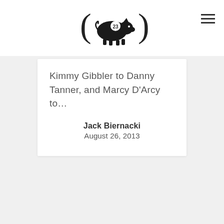[Figure (logo): Black pig silhouette logo with parentheses on either side and the number 23 on the pig, centered in the page header]
Kimmy Gibbler to Danny Tanner, and Marcy D'Arcy to…
Jack Biernacki
August 26, 2013